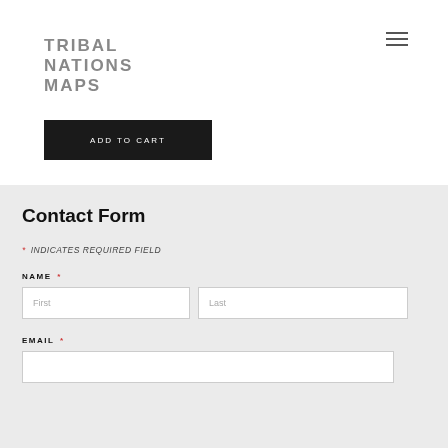TRIBAL NATIONS MAPS
ADD TO CART
Contact Form
* INDICATES REQUIRED FIELD
NAME *
First
Last
EMAIL *